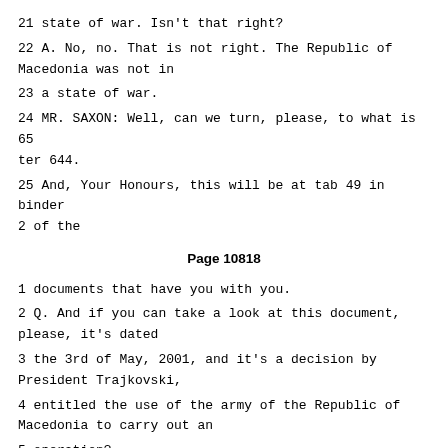21 state of war. Isn't that right?
22 A. No, no. That is not right. The Republic of Macedonia was not in
23 a state of war.
24 MR. SAXON: Well, can we turn, please, to what is 65 ter 644.
25 And, Your Honours, this will be at tab 49 in binder 2 of the
Page 10818
1 documents that have you with you.
2 Q. And if you can take a look at this document, please, it's dated
3 the 3rd of May, 2001, and it's a decision by President Trajkovski,
4 entitled the use of the army of the Republic of Macedonia to carry out an
5 operation?
6 Do you see that?
7 A. Yes, precisely.